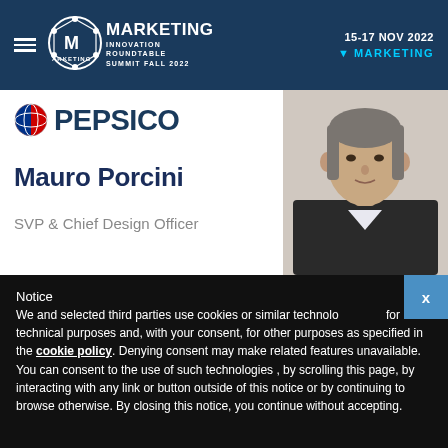Marketing Innovation Roundtable Summit Fall 2022 | 15-17 NOV 2022 | MARKETING
[Figure (logo): PepsiCo globe logo with PEPSICO wordmark in dark navy blue]
Mauro Porcini
SVP & Chief Design Officer
[Figure (photo): Professional headshot of Mauro Porcini, a middle-aged man in a dark suit against a light grey background]
Notice
We and selected third parties use cookies or similar technologies for technical purposes and, with your consent, for other purposes as specified in the cookie policy. Denying consent may make related features unavailable.
You can consent to the use of such technologies , by scrolling this page, by interacting with any link or button outside of this notice or by continuing to browse otherwise. By closing this notice, you continue without accepting.